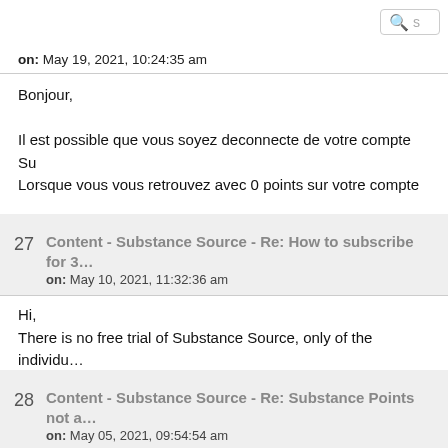Search
on: May 19, 2021, 10:24:35 am
Bonjour,

Il est possible que vous soyez deconnecte de votre compte Su...
Lorsque vous vous retrouvez avec 0 points sur votre compte ...
27  Content - Substance Source - Re: How to subscribe for 3...
on: May 10, 2021, 11:32:36 am
Hi,
There is no free trial of Substance Source, only of the individu...
You can try to download the free assets to see if they fit your ...
28  Content - Substance Source - Re: Substance Points not a...
on: May 05, 2021, 09:54:54 am